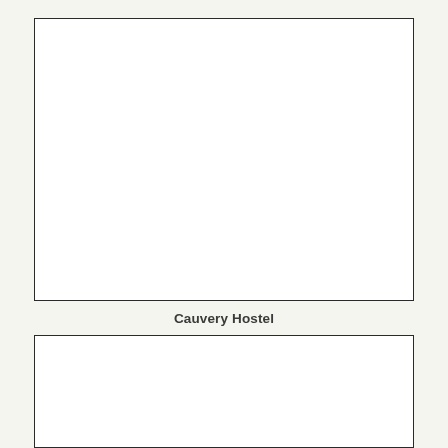[Figure (photo): Empty white rectangular box representing a photo placeholder (top image)]
Cauvery Hostel
[Figure (photo): Empty white rectangular box representing a photo placeholder (bottom image)]